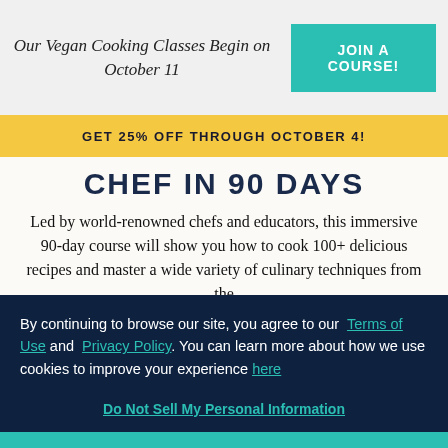Our Vegan Cooking Classes Begin on October 11
JOIN A COURSE!
GET 25% OFF THROUGH OCTOBER 4!
CHEF IN 90 DAYS
Led by world-renowned chefs and educators, this immersive 90-day course will show you how to cook 100+ delicious recipes and master a wide variety of culinary techniques from the
By continuing to browse our site, you agree to our Terms of Use and Privacy Policy. You can learn more about how we use cookies to improve your experience here
Do Not Sell My Personal Information